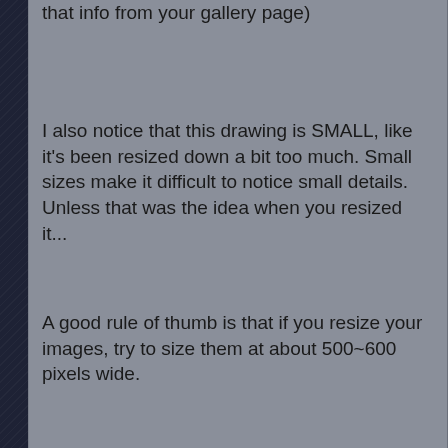that info from your gallery page)
I also notice that this drawing is SMALL, like it's been resized down a bit too much. Small sizes make it difficult to notice small details. Unless that was the idea when you resized it...
A good rule of thumb is that if you resize your images, try to size them at about 500~600 pixels wide.